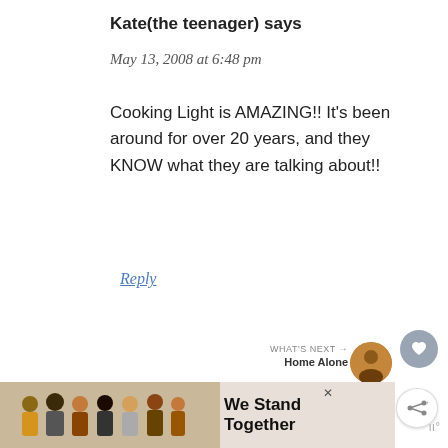Kate(the teenager) says
May 13, 2008 at 6:48 pm
Cooking Light is AMAZING!! It’s been around for over 20 years, and they KNOW what they are talking about!!
Reply
Amanda @ Down Home Dieting says
May 13, 2008 at 6:52 pm
[Figure (infographic): We Stand Together advertisement with group photo of people with arms around each other]
WHAT’S NEXT → Home Alone